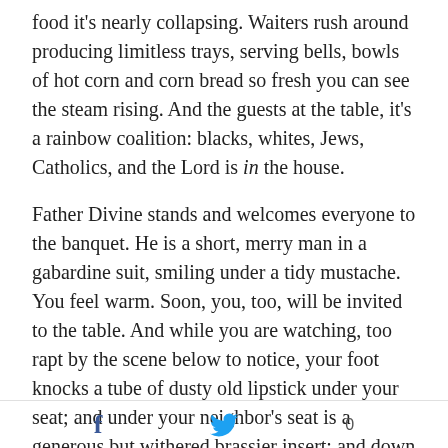food it's nearly collapsing. Waiters rush around producing limitless trays, serving bells, bowls of hot corn and corn bread so fresh you can see the steam rising. And the guests at the table, it's a rainbow coalition: blacks, whites, Jews, Catholics, and the Lord is in the house.
Father Divine stands and welcomes everyone to the banquet. He is a short, merry man in a gabardine suit, smiling under a tidy mustache. You feel warm. Soon, you, too, will be invited to the table. And while you are watching, too rapt by the scene below to notice, your foot knocks a tube of dusty old lipstick under your seat; and under your neighbor's seat is a generous but withered brassier insert; and down the row, under
f  [twitter icon]  0